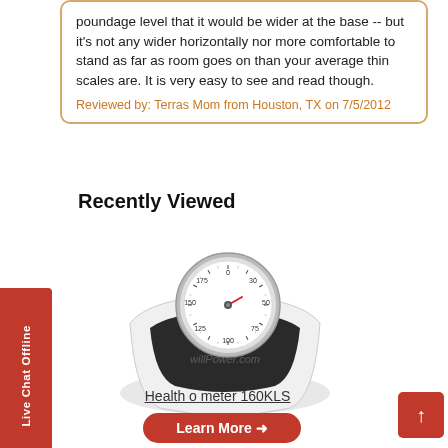poundage level that it would be wider at the base -- but it's not any wider horizontally nor more comfortable to stand as far as room goes on than your average thin scales are. It is very easy to see and read though.
Reviewed by: Terras Mom from Houston, TX on 7/5/2012
Recently Viewed
[Figure (photo): A bathroom scale (Health o meter 160KLS) with a round analog dial face showing numbers, a red needle pointer, chrome bezel, white housing, and black platform. A faint watermark is visible on the platform.]
Health o meter 160KLS